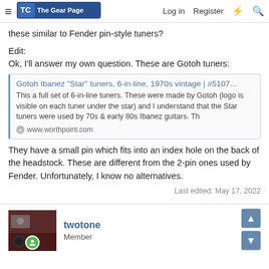The Gear Page — Log in  Register
these similar to Fender pin-style tuners?
Edit:
Ok, I'll answer my own question. These are Gotoh tuners:
[Figure (screenshot): Link preview card for WorthPoint listing: Gotoh Ibanez "Star" tuners, 6-in-line, 1970s vintage | #5107... with description text and www.worthpoint.com site label]
They have a small pin which fits into an index hole on the back of the headstock. These are different from the 2-pin ones used by Fender. Unfortunately, I know no alternatives.
Last edited: May 17, 2022
twotone
Member